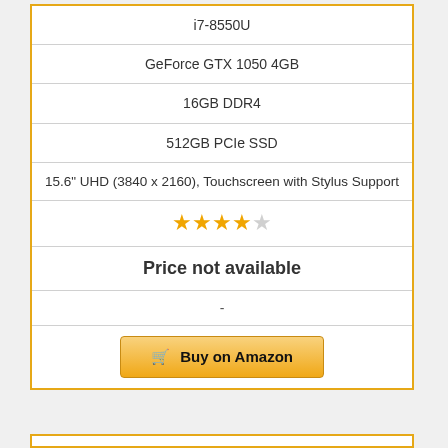| i7-8550U |
| GeForce GTX 1050 4GB |
| 16GB DDR4 |
| 512GB PCIe SSD |
| 15.6" UHD (3840 x 2160), Touchscreen with Stylus Support |
| ★★★★☆ |
| Price not available |
| - |
| Buy on Amazon |